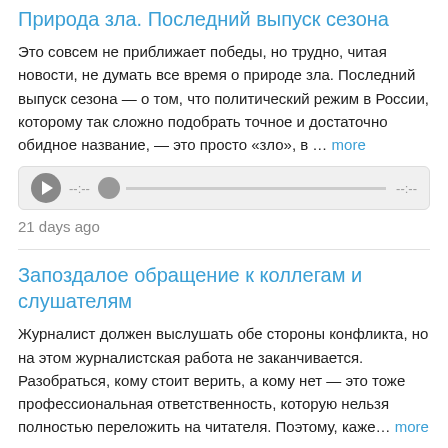Природа зла. Последний выпуск сезона
Это совсем не приближает победы, но трудно, читая новости, не думать все время о природе зла. Последний выпуск сезона — о том, что политический режим в России, которому так сложно подобрать точное и достаточно обидное название, — это просто «зло», в … more
[Figure (other): Audio player widget with play button, progress bar, and time indicators showing --:-- on both ends]
21 days ago
Запоздалое обращение к коллегам и слушателям
Журналист должен выслушать обе стороны конфликта, но на этом журналистская работа не заканчивается. Разобраться, кому стоит верить, а кому нет — это тоже профессиональная ответственность, которую нельзя полностью переложить на читателя. Поэтому, каже… more